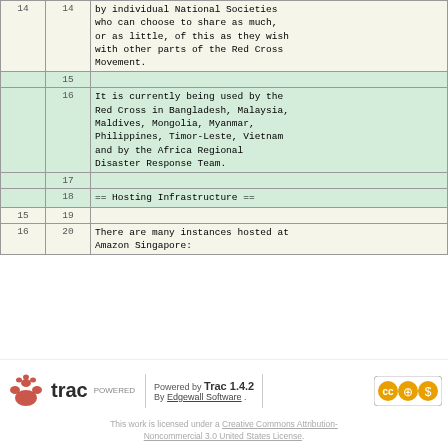| col1 | col2 | content |
| --- | --- | --- |
| 14 | 14 | by individual National Societies who can choose to share as much, or as little, of this as they wish with other parts of the Red Cross Movement. |
|  | 15 |  |
|  | 16 | It is currently being used by the Red Cross in Bangladesh, Malaysia, Maldives, Mongolia, Myanmar, Philippines, Timor-Leste, Vietnam and by the Africa Regional Disaster Response Team. |
|  | 17 |  |
|  | 18 | == Hosting Infrastructure == |
| 15 | 19 |  |
| 16 | 20 | There are many instances hosted at Amazon Singapore: |
Powered by Trac 1.4.2
By Edgewall Software .
This work is licensed under a Creative Commons Attribution-Noncommercial 3.0 United States License.